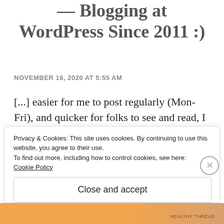— Blogging at WordPress Since 2011 :)
NOVEMBER 16, 2020 AT 5:55 AM
[...] easier for me to post regularly (Mon-Fri), and quicker for folks to see and read, I created a reference post/page with “lots” of info that can easily be reached there 😊 That
Privacy & Cookies: This site uses cookies. By continuing to use this website, you agree to their use.
To find out more, including how to control cookies, see here:
Cookie Policy
Close and accept